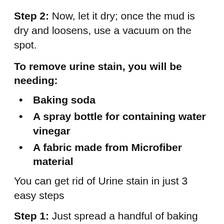Step 2: Now, let it dry; once the mud is dry and loosens, use a vacuum on the spot.
To remove urine stain, you will be needing:
Baking soda
A spray bottle for containing water vinegar
A fabric made from Microfiber material
You can get rid of Urine stain in just 3 easy steps
Step 1: Just spread a handful of baking soda over a urine stain and let it stay for a few minutes.